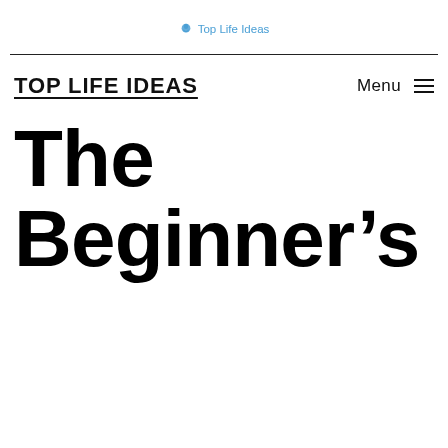Top Life Ideas
TOP LIFE IDEAS
The Beginner's